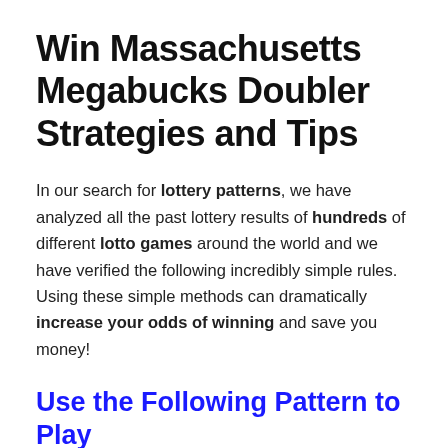Win Massachusetts Megabucks Doubler Strategies and Tips
In our search for lottery patterns, we have analyzed all the past lottery results of hundreds of different lotto games around the world and we have verified the following incredibly simple rules. Using these simple methods can dramatically increase your odds of winning and save you money!
Use the Following Pattern to Play Massachusetts Megabucks